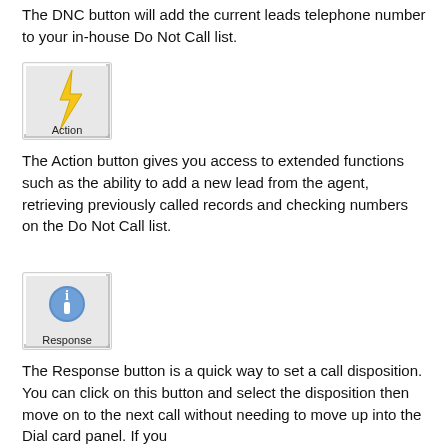The DNC button will add the current leads telephone number to your in-house Do Not Call list.
[Figure (screenshot): A UI button labeled 'Action' with a yellow lightning bolt icon, styled with a gray beveled border.]
The Action button gives you access to extended functions such as the ability to add a new lead from the agent, retrieving previously called records and checking numbers on the Do Not Call list.
[Figure (screenshot): A UI button labeled 'Response' with a blue information (i) icon, styled with a gray beveled border.]
The Response button is a quick way to set a call disposition. You can click on this button and select the disposition then move on to the next call without needing to move up into the Dial card panel. If you